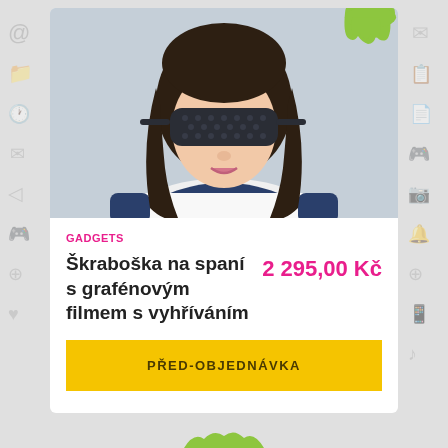[Figure (photo): Young woman wearing a dark graphene sleep mask/eye mask covering her eyes, with long dark hair, wearing a white and navy blue long-sleeve shirt, photographed against a light blue-grey background.]
GADGETS
Škraboška na spaní s grafénovým filmem s vyhříváním
2 295,00 Kč
PŘED-OBJEDNÁVKA